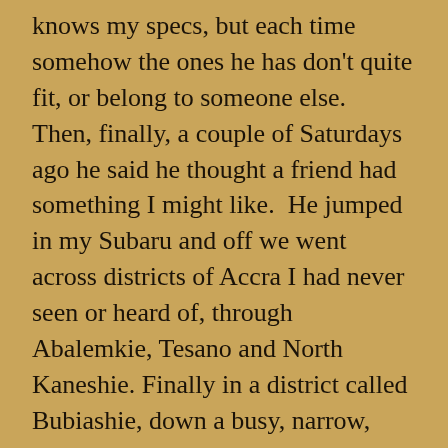knows my specs, but each time somehow the ones he has don't quite fit, or belong to someone else.  Then, finally, a couple of Saturdays ago he said he thought a friend had something I might like.  He jumped in my Subaru and off we went across districts of Accra I had never seen or heard of, through Abalemkie, Tesano and North Kaneshie. Finally in a district called Bubiashie, down a busy, narrow, rough and tumble market road are all kinds of mechanical hardware strewn about on piles along the side of the road: old engines, petrol tanks, wheels and whole vehicles ranging from whole one-ton trucks to small sedans.  There in a parking area to one side are not one, but three Land Rover Defender 110s.  Judging from the numbers on